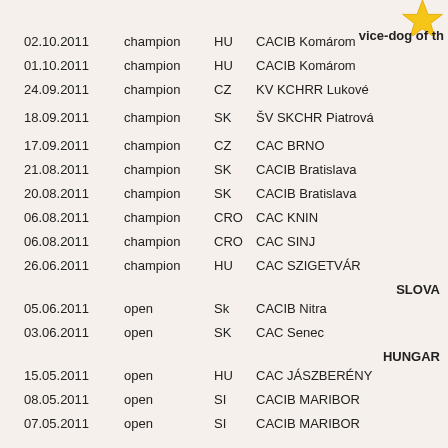vice-dog of th
02.10.2011   champion   HU   CACIB Komárom
01.10.2011   champion   HU   CACIB Komárom
24.09.2011   champion   CZ   KV KCHRR Lukové
18.09.2011   champion   SK   ŠV SKCHR Piatrová
17.09.2011   champion   CZ   CAC BRNO
21.08.2011   champion   SK   CACIB Bratislava
20.08.2011   champion   SK   CACIB Bratislava
06.08.2011   champion   CRO  CAC KNIN
06.08.2011   champion   CRO  CAC SINJ
26.06.2011   champion   HU   CAC SZIGETVÁR
SLOVA
05.06.2011   open   Sk   CACIB Nitra
03.06.2011   open   SK   CAC Senec
HUNGAR
15.05.2011   open   HU   CAC JÁSZBERÉNY
08.05.2011   open   SI   CACIB MARIBOR
07.05.2011   open   SI   CACIB MARIBOR